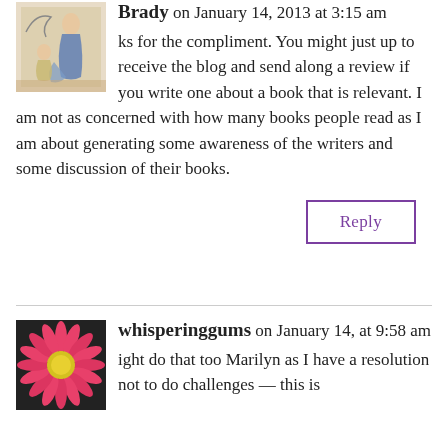Brady on January 14, 2013 at 3:15 am
ks for the compliment. You might just up to receive the blog and send along a review if you write one about a book that is relevant. I am not as concerned with how many books people read as I am about generating some awareness of the writers and some discussion of their books.
Reply
whisperinggums on January 14, at 9:58 am
ight do that too Marilyn as I have a resolution not to do challenges — this is